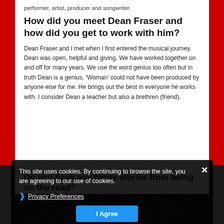performer, artist, producer and songwriter.
How did you meet Dean Fraser and how did you get to work with him?
Dean Fraser and I met when I first entered the musical journey. Dean was open, helpful and giving. We have worked together on and off for many years. We use the word genius too often but in truth Dean is a genius. ‘Woman’ could not have been produced by anyone else for me. He brings out the best in everyone he works with. I consider Dean a teacher but also a brethren (friend).
Do you have any funny stories from being on the road?
Years ago, we were doing a tour across the island of Jamaica. One of the stops after the gig one of the performers was accidentally left behind. As the tour bus pulled out it was funny as heck to see him running with his
This site uses cookies. By continuing to browse the site, you are agreeing to our use of cookies.
Privacy Preferences
I Agree